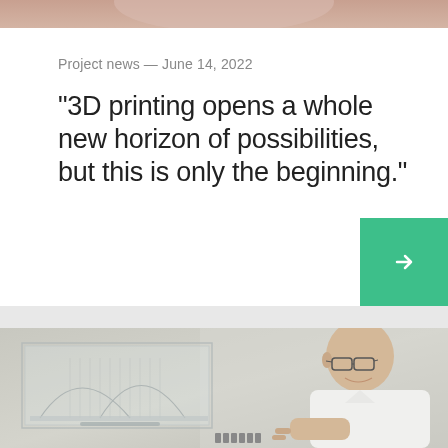[Figure (photo): Top cropped photo of a person, showing lower part of face/neck area]
Project news — June 14, 2022
"3D printing opens a whole new horizon of possibilities, but this is only the beginning."
[Figure (photo): Photo of a bald man with glasses smiling, sitting next to a transparent 3D printed architectural model on a table]